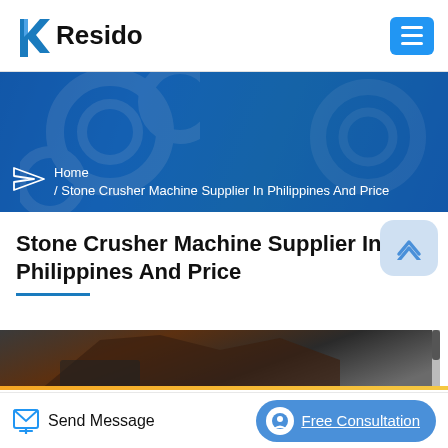Resido
[Figure (screenshot): Blue banner with industrial machinery background showing breadcrumb navigation: Home / Stone Crusher Machine Supplier In Philippines And Price]
Stone Crusher Machine Supplier In Philippines And Price
[Figure (photo): Partial photo of stone crusher machine at bottom of page]
Send Message
Free Consultation